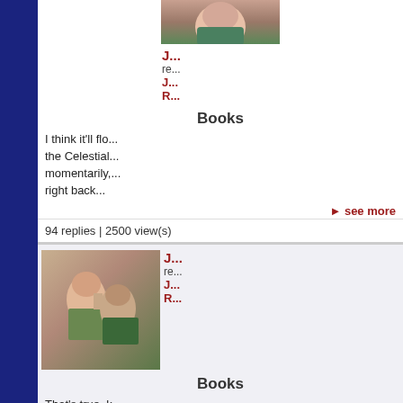[Figure (photo): Avatar image of a comic book character (woman with reddish hair, green costume), partially cropped at top]
re...
J...
R...
Books
I think it'll flo... the Celestial... momentarily,... right back...
▶ see more
94 replies | 2500 view(s)
[Figure (photo): Avatar image of two comic book characters (woman and man close together)]
J...
re...
J...
R...
Books
That's true, k... healing woul... more of the t... picture the...
▶ see more
94 replies | 2500 view(s)
[Figure (photo): Avatar image of two comic book characters (woman and man close together), third occurrence]
J...
re...
J...